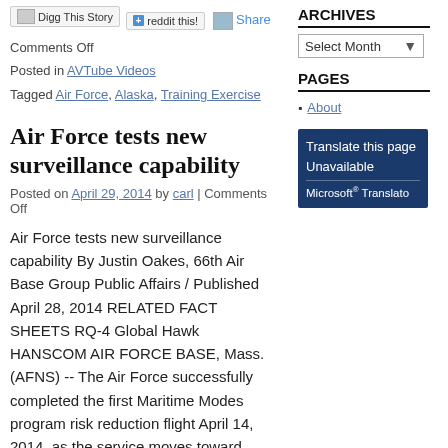[Figure (other): Social sharing buttons: Digg This Story, reddit this!, and Share link with icon]
Comments Off
Posted in AVTube Videos
Tagged Air Force, Alaska, Training Exercise
Air Force tests new surveillance capability
Posted on April 29, 2014 by carl | Comments Off
Air Force tests new surveillance capability By Justin Oakes, 66th Air Base Group Public Affairs / Published April 28, 2014 RELATED FACT SHEETS RQ-4 Global Hawk HANSCOM AIR FORCE BASE, Mass. (AFNS) -- The Air Force successfully completed the first Maritime Modes program risk reduction flight April 14, 2014, as the service moves toward providing a new air-sea battle surveillance capability. The test flight
ARCHIVES
Select Month
PAGES
About
[Figure (other): Translate this page Unavailable - Microsoft Translator widget box]